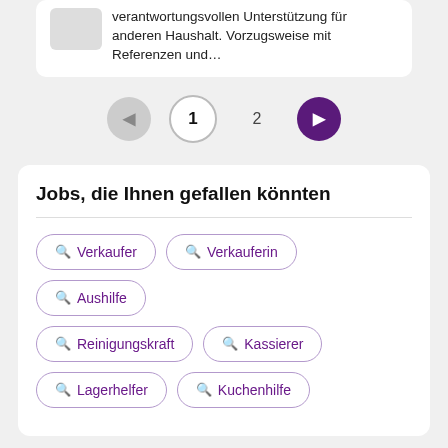verantwortungsvollen Unterstützung für anderen Haushalt. Vorzugsweise mit Referenzen und…
◀ 1 2 ▶
Jobs, die Ihnen gefallen könnten
🔍 Verkaufer
🔍 Verkauferin
🔍 Aushilfe
🔍 Reinigungskraft
🔍 Kassierer
🔍 Lagerhelfer
🔍 Kuchenhilfe